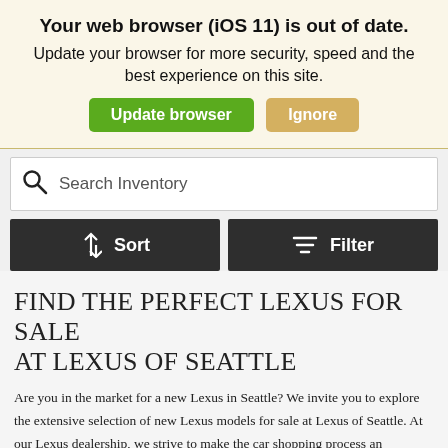Your web browser (iOS 11) is out of date.
Update your browser for more security, speed and the best experience on this site.
Update browser   Ignore
[Figure (screenshot): Search Inventory input field with magnifying glass icon]
Sort   Filter
FIND THE PERFECT LEXUS FOR SALE AT LEXUS OF SEATTLE
Are you in the market for a new Lexus in Seattle? We invite you to explore the extensive selection of new Lexus models for sale at Lexus of Seattle. At our Lexus dealership, we strive to make the car shopping process an enjoyable experience. Thanks to our no-pressure showroom environment and knowledgeable associates, finding the car of your dreams has never been easier. Peruse our inventory to find the perfect new, pre-owned, or